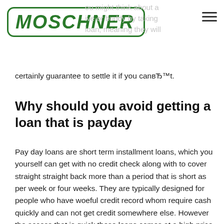MOSCHNER
certainly guarantee to settle it if you canвЂ™t.
Why should you avoid getting a loan that is payday
Pay day loans are short term installment loans, which you yourself can get with no credit check along with to cover straight straight back more than a period that is short as per week or four weeks. They are typically designed for people who have woeful credit record whom require cash quickly and can not get credit somewhere else. However the access that is quick these loans comes at a high price, as pay day loans will be the priciest type of credit you could get. Interest on pay day loans may be up to 500per cent if not greater and you may effortlessly trap individuals in a period of financial obligation in which you constantly